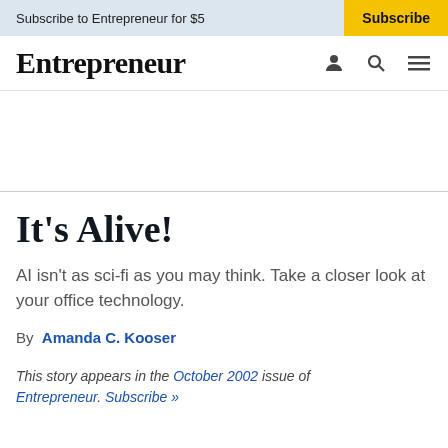Subscribe to Entrepreneur for $5   Subscribe
Entrepreneur
It's Alive!
AI isn't as sci-fi as you may think. Take a closer look at your office technology.
By Amanda C. Kooser
This story appears in the October 2002 issue of Entrepreneur. Subscribe »